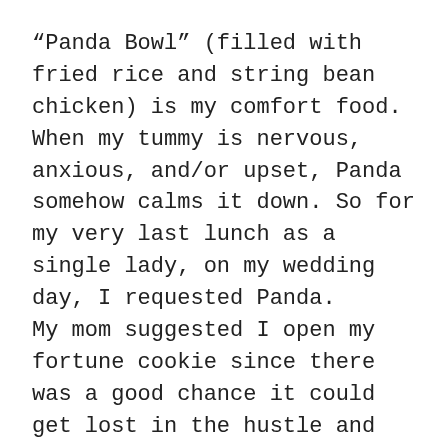“Panda Bowl” (filled with fried rice and string bean chicken) is my comfort food. When my tummy is nervous, anxious, and/or upset, Panda somehow calms it down. So for my very last lunch as a single lady, on my wedding day, I requested Panda.
My mom suggested I open my fortune cookie since there was a good chance it could get lost in the hustle and bustle of the day once lunch time came around. So I dug around in the bag till I found it, then I opened its package, cracked it open, and we all giggled at its contents: